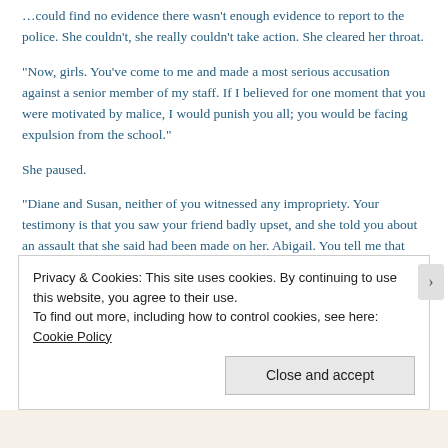…could find no evidence there wasn't enough evidence to report to the police. She couldn't, she really couldn't take action. She cleared her throat.
“Now, girls. You've come to me and made a most serious accusation against a senior member of my staff. If I believed for one moment that you were motivated by malice, I would punish you all; you would be facing expulsion from the school.”
She paused.
“Diane and Susan, neither of you witnessed any impropriety. Your testimony is that you saw your friend badly upset, and she told you about an assault that she said had been made on her. Abigail. You tell me that you have been assaulted, but there is no physical evidence of an assault having been made. Is that a
Privacy & Cookies: This site uses cookies. By continuing to use this website, you agree to their use.
To find out more, including how to control cookies, see here: Cookie Policy
Close and accept